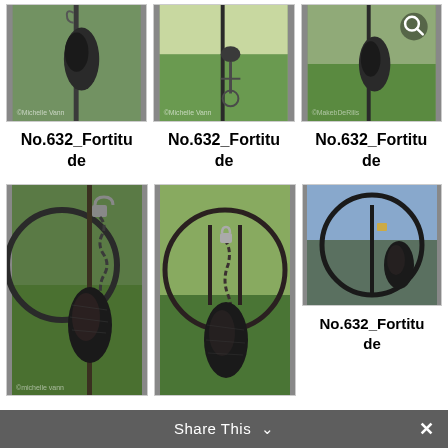[Figure (photo): Three thumbnail photos of iron sculpture 'No.632_Fortitude' in a field, arranged in a row]
No.632_Fortitu
de
No.632_Fortitu
de
No.632_Fortitu
de
[Figure (photo): Three more thumbnail photos of iron sculpture 'No.632_Fortitude' in a field, arranged in a row]
No.632_Fortitu
de
Share This  ×